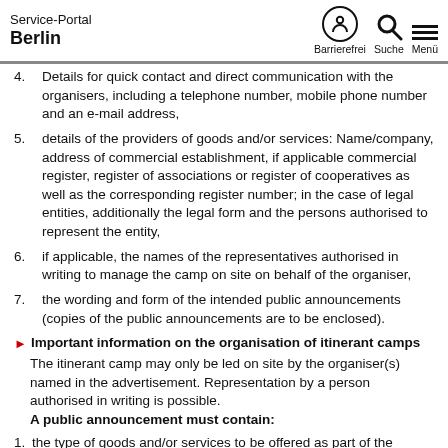Service-Portal Berlin | Barrierefrei | Suche | Menü
4. Details for quick contact and direct communication with the organisers, including a telephone number, mobile phone number and an e-mail address,
5. details of the providers of goods and/or services: Name/company, address of commercial establishment, if applicable commercial register, register of associations or register of cooperatives as well as the corresponding register number; in the case of legal entities, additionally the legal form and the persons authorised to represent the entity,
6. if applicable, the names of the representatives authorised in writing to manage the camp on site on behalf of the organiser,
7. the wording and form of the intended public announcements (copies of the public announcements are to be enclosed).
Important information on the organisation of itinerant camps
The itinerant camp may only be led on site by the organiser(s) named in the advertisement. Representation by a person authorised in writing is possible.
A public announcement must contain:
1. the type of goods and/or services to be offered as part of the itinerant camp,
2. the location of the itinerant camp,